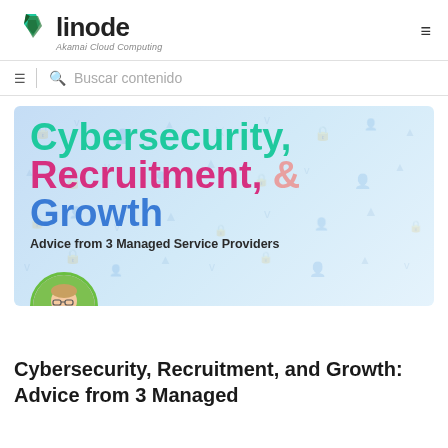linode — Akamai Cloud Computing
Buscar contenido
[Figure (illustration): Hero banner for article: large bold text reading 'Cybersecurity, Recruitment, & Growth — Advice from 3 Managed Service Providers' on a light blue background with subtle watermark icons, and a circular author avatar at the bottom left.]
Cybersecurity, Recruitment, and Growth: Advice from 3 Managed